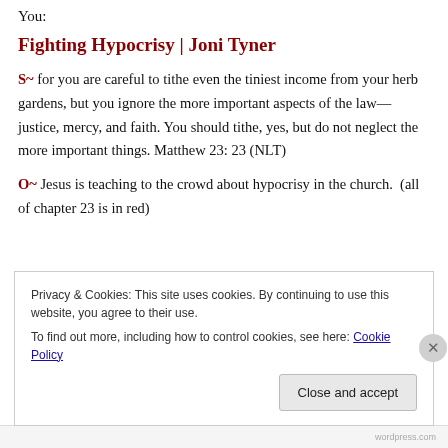You:
Fighting Hypocrisy | Joni Tyner
S~ for you are careful to tithe even the tiniest income from your herb gardens, but you ignore the more important aspects of the law—justice, mercy, and faith. You should tithe, yes, but do not neglect the more important things. Matthew 23: 23 (NLT)
O~ Jesus is teaching to the crowd about hypocrisy in the church.  (all of chapter 23 is in red)
Privacy & Cookies: This site uses cookies. By continuing to use this website, you agree to their use.
To find out more, including how to control cookies, see here: Cookie Policy